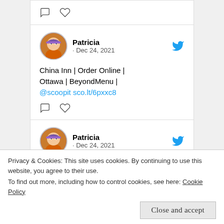[Figure (screenshot): Top of a tweet card partially visible — showing comment and heart icons]
Patricia · Dec 24, 2021
China Inn | Order Online | Ottawa | BeyondMenu | @scoopit sco.lt/6pxxc8
Patricia · Dec 24, 2021
First Post on SCOOP.IT | @scoopit sco.lt/6mHAvI
Privacy & Cookies: This site uses cookies. By continuing to use this website, you agree to their use.
To find out more, including how to control cookies, see here: Cookie Policy